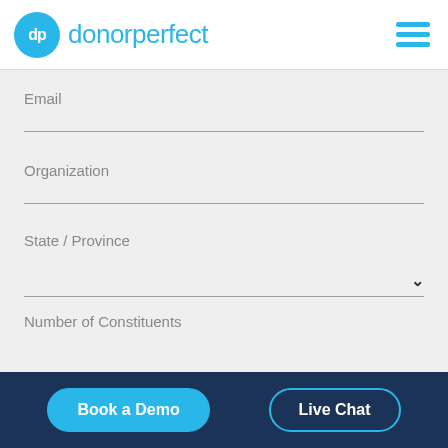[Figure (logo): DonorPerfect logo: blue circle with 'dp' text and 'donorperfect' wordmark in cyan]
Email
Organization
State / Province
Number of Constituents
Book a Demo
Live Chat